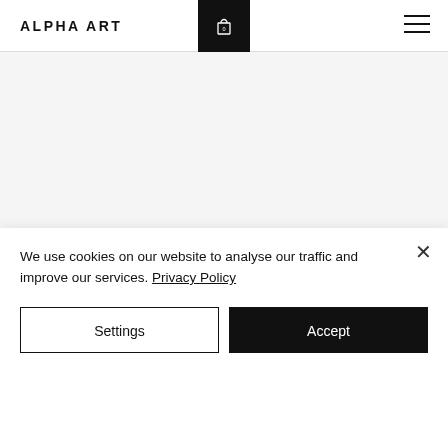ALPHA ART
[Figure (screenshot): Website screenshot showing ALPHA ART navigation header with logo, shopping cart icon (0), and hamburger menu]
We use cookies on our website to analyse our traffic and improve our services. Privacy Policy
Settings
Accept